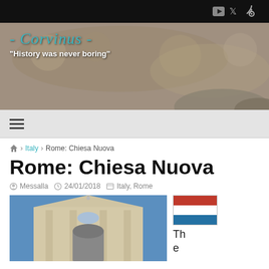Corvinus - History was never boring
≡ (hamburger menu)
🏠 > Italy > Rome: Chiesa Nuova
Rome: Chiesa Nuova
Messalla  24/01/2018  Italy, Rome
[Figure (photo): Exterior photo of Chiesa Nuova church in Rome against blue sky]
[Figure (illustration): Dutch flag (red, white, blue horizontal stripes)]
The name Chiesa